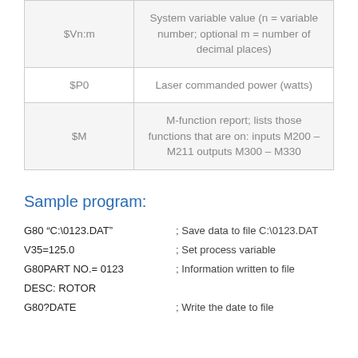| Variable | Description |
| --- | --- |
| $Vn:m | System variable value (n = variable number; optional m = number of decimal places) |
| $P0 | Laser commanded power (watts) |
| $M | M-function report; lists those functions that are on: inputs M200 – M211 outputs M300 – M330 |
Sample program:
G80 "C:\0123.DAT"        ; Save data to file C:\0123.DAT
V35=125.0                ; Set process variable
G80PART NO.= 0123        ; Information written to file
DESC: ROTOR
G80?DATE                 ; Write the date to file